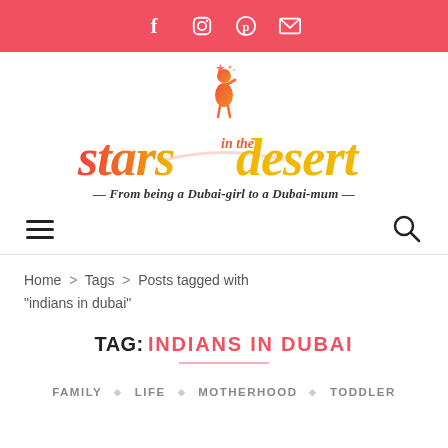Social icons: Facebook, Instagram, Pinterest, Email
[Figure (logo): Stars in the Desert blog logo — a stylized girl blowing stars, with gradient text 'stars in the desert' in red-to-orange/yellow colors]
— From being a Dubai-girl to a Dubai-mum —
Hamburger menu and search icon navigation bar
Home > Tags > Posts tagged with "indians in dubai"
TAG: INDIANS IN DUBAI
FAMILY ◇ LIFE ◇ MOTHERHOOD ◇ TODDLER